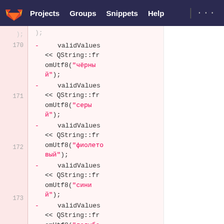GitLab navbar: Projects  Groups  Snippets  Help
[Figure (screenshot): GitLab diff view showing lines 170-174 with validValues << QString::fromUtf8 calls with Russian color strings: чёрный, серый, фиолетовый, синий, голубой]
170 -     validValues << QString::fromUtf8("чёрный");
171 -     validValues << QString::fromUtf8("серый");
172 -     validValues << QString::fromUtf8("фиолетовый");
173 -     validValues << QString::fromUtf8("синий");
174 -     validValues << QString::fromUtf8("голубой");